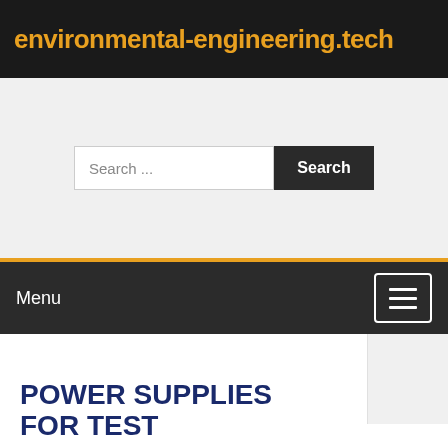environmental-engineering.tech
[Figure (screenshot): Search bar with text input field showing 'Search ...' placeholder and a dark 'Search' button]
Menu
POWER SUPPLIES FOR TEST